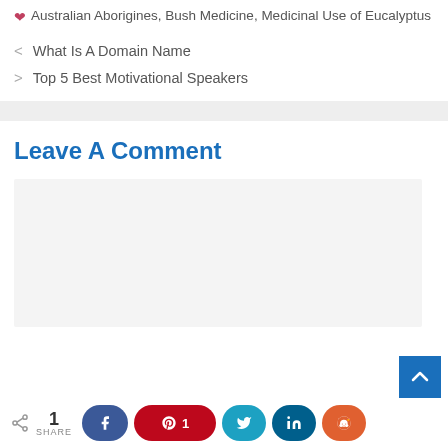Australian Aborigines, Bush Medicine, Medicinal Use of Eucalyptus
< What Is A Domain Name
> Top 5 Best Motivational Speakers
Leave A Comment
[Figure (screenshot): Comment text area input box (light gray background)]
[Figure (infographic): Share bar with share icon, count of 1, and social buttons: Facebook, Pinterest (1), Twitter, LinkedIn, Reddit]